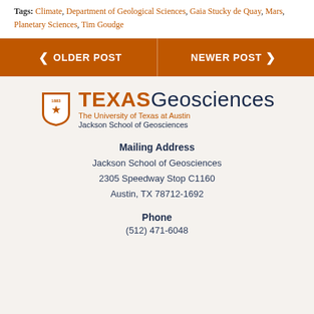Tags: Climate, Department of Geological Sciences, Gaia Stucky de Quay, Mars, Planetary Sciences, Tim Goudge
< OLDER POST    NEWER POST >
[Figure (logo): Texas Geosciences logo — The University of Texas at Austin, Jackson School of Geosciences]
Mailing Address
Jackson School of Geosciences
2305 Speedway Stop C1160
Austin, TX 78712-1692
Phone
(512) 471-6048